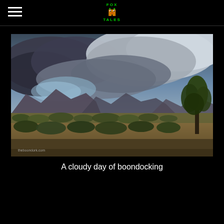FOX TALES
[Figure (photo): Desert landscape with dramatic cloudy sky, mountains in the background, sparse desert scrub vegetation in the foreground, and a tree on the right. Watermark reads 'theboondork.com'.]
A cloudy day of boondocking